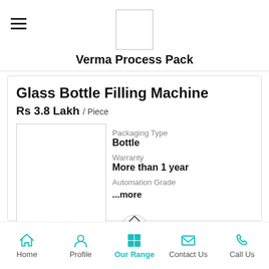Verma Process Pack
Glass Bottle Filling Machine
Rs 3.8 Lakh / Piece
[Figure (photo): Product image placeholder box]
Packaging Type
Bottle
Warranty
More than 1 year
Automation Grade
...more
Home  Profile  Our Range  Contact Us  Call Us